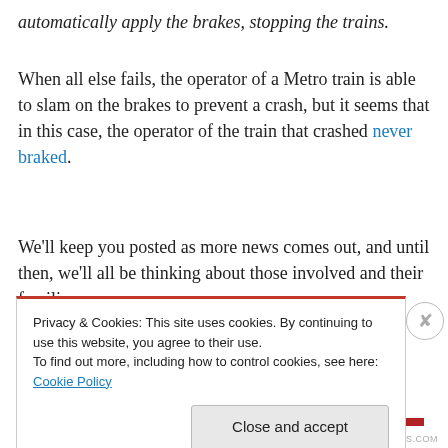automatically apply the brakes, stopping the trains.
When all else fails, the operator of a Metro train is able to slam on the brakes to prevent a crash, but it seems that in this case, the operator of the train that crashed never braked.
We'll keep you posted as more news comes out, and until then, we'll all be thinking about those involved and their families.
UPDATE (6/24): Read more about what officials are
Privacy & Cookies: This site uses cookies. By continuing to use this website, you agree to their use.
To find out more, including how to control cookies, see here: Cookie Policy
Close and accept